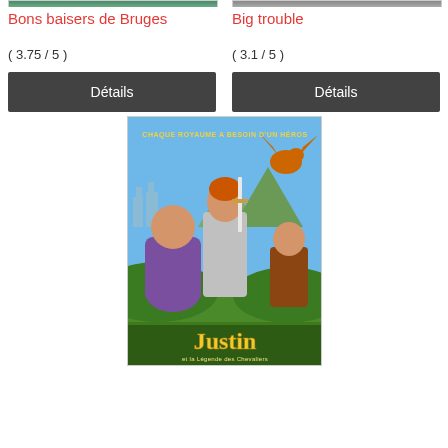Bons baisers de Bruges
Big trouble
( 3.75 / 5 )
( 3.1 / 5 )
Détails
Détails
[Figure (photo): Movie poster for Justin et la Légende des Chevaliers showing animated characters including a knight, a large man in purple, a boy, and a dragon, with text 'CHAQUE ROYAUME A BESOIN D'UN HÉROS' at the top and 'Justin et la Légende des Chevaliers' at the bottom]